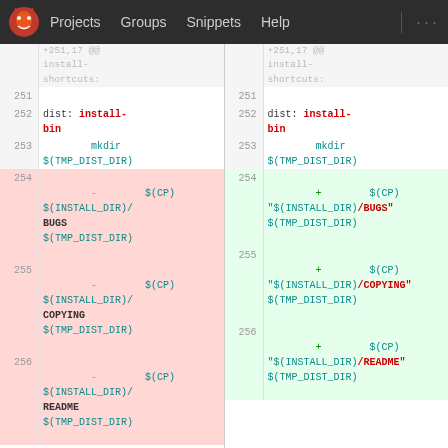Projects  Groups  Snippets  Help  ...
[Figure (screenshot): GitLab diff view showing side-by-side comparison of a Makefile. Lines 251-256 shown. Left panel shows old version with removed lines (-). Right panel shows new version with added lines (+). Line 252: dist: install-bin. Line 253: mkdir $(TMP_DIST_DIR). Line 254: - $(CP) $(INSTALL_DIR)/BUGS $(TMP_DIST_DIR) vs + $(CP) "$(INSTALL_DIR)/BUGS" $(TMP_DIST_DIR). Line 255: - $(CP) $(INSTALL_DIR)/COPYING $(TMP_DIST_DIR) vs + $(CP) "$(INSTALL_DIR)/COPYING" $(TMP_DIST_DIR). Line 256: - $(CP) $(INSTALL_DIR)/README $(TMP_DIST_DIR) vs + $(CP) "$(INSTALL_DIR)/README" $(TMP_DIST_DIR).]